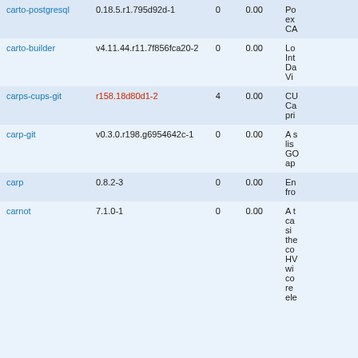| Package | Version | Votes | Popularity | Description |
| --- | --- | --- | --- | --- |
| carto-postgresql | 0.18.5.r1.795d92d-1 | 0 | 0.00 | Po... ex... CA... |
| carto-builder | v4.11.44.r11.7f856fca20-2 | 0 | 0.00 | Lo... Int... Da... Vi... |
| carps-cups-git | r158.18d80d1-2 | 4 | 0.00 | CU... Ca... pri... |
| carp-git | v0.3.0.r198.g6954642c-1 | 0 | 0.00 | A s... lis... GO... ap... |
| carp | 0.8.2-3 | 0 | 0.00 | En... fro... |
| carnot | 7.1.0-1 | 0 | 0.00 | A t... ca... si... the... co... HV... wi... co... re... ele... |